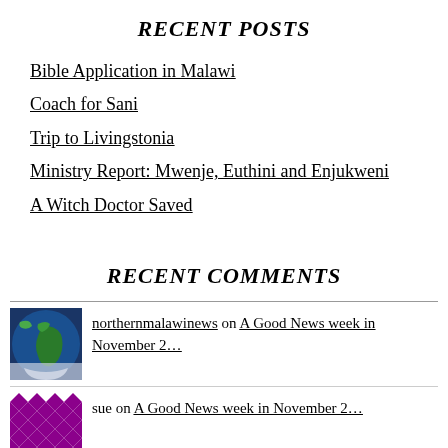RECENT POSTS
Bible Application in Malawi
Coach for Sani
Trip to Livingstonia
Ministry Report: Mwenje, Euthini and Enjukweni
A Witch Doctor Saved
RECENT COMMENTS
northernmalawinews on A Good News week in November 2…
sue on A Good News week in November 2…